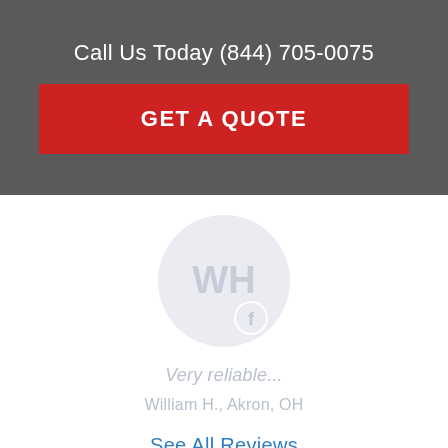Call Us Today (844) 705-0075
GET A QUOTE
[Figure (illustration): Circular avatar placeholder with initials WH and a small Facebook icon badge at bottom right]
Very reliable...
William H., Akron, OH
See All Reviews